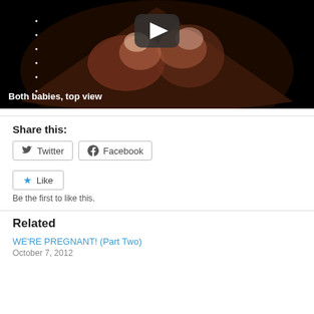[Figure (screenshot): Ultrasound video thumbnail showing fetal scan image with text 'Both babies, top view' overlaid and a YouTube-style play button centered.]
Share this:
Twitter  Facebook
Like
Be the first to like this.
Related
WE'RE PREGNANT! (Part Two)
October 7, 2012